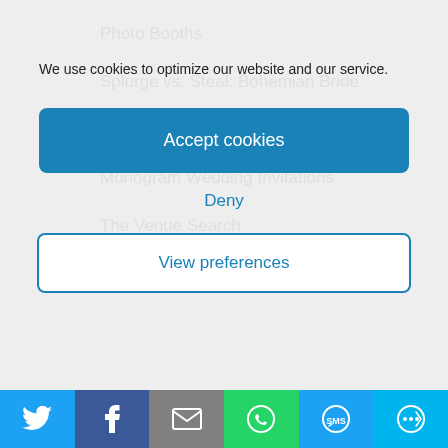Photo Booths
Splurge vs. Steal: Bohemian Bride
Wedding Photos in Your Own Style
Monogram Wedding Invitations
The Venue Search
Splurge vs. Steal: Bridal Shoes
We use cookies to optimize our website and our service.
Accept cookies
Deny
View preferences
[Figure (infographic): Social sharing bar with Twitter, Facebook, Email, WhatsApp, SMS, and More buttons]